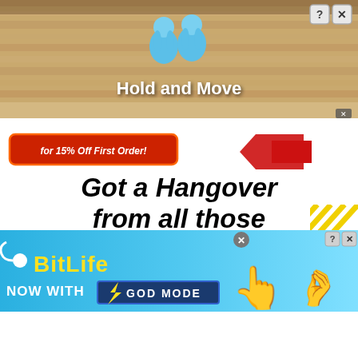[Figure (screenshot): Top mobile game ad banner showing 'Hold and Move' title with blue cartoon characters on a wooden background, with close/help buttons top right]
[Figure (screenshot): Partial red discount button reading 'for 15% Off First Order' with red arrow graphic]
Got a Hangover from all those Delivery App fees? Save Time and Money by ordering through
[Figure (logo): LiquorSplit™ brand logo in bold italic black and red text]
[Figure (screenshot): BitLife mobile game advertisement banner with yellow text 'BitLife', 'NOW WITH GOD MODE' text, pointing hand cartoon and snapping fingers graphic, on blue gradient background]